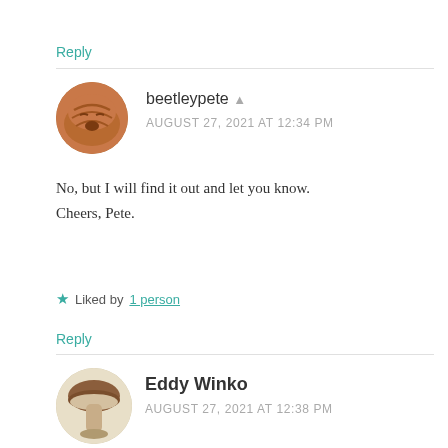Reply
[Figure (illustration): Round avatar showing a brown/reddish puppy face (dog sleeping/curled up), circular crop]
beetleypete
AUGUST 27, 2021 AT 12:34 PM
No, but I will find it out and let you know.
Cheers, Pete.
Liked by 1 person
Reply
[Figure (illustration): Round avatar showing a mushroom photograph (brown cap, pale stem), circular crop]
Eddy Winko
AUGUST 27, 2021 AT 12:38 PM